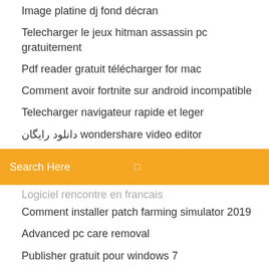Image platine dj fond décran
Telecharger le jeux hitman assassin pc gratuitement
Pdf reader gratuit télécharger for mac
Comment avoir fortnite sur android incompatible
Telecharger navigateur rapide et leger
دانلود رایگان wondershare video editor
[Figure (screenshot): Orange search bar with 'Search Here' placeholder text and a small icon on the right]
Logiciel rencontre en francais (partial, cut off)
Comment installer patch farming simulator 2019
Advanced pc care removal
Publisher gratuit pour windows 7
Battle for wesnoth télécharger windows 10
What is ppap documents pdf
Photo collage maker apk android
Installer périphérique audio windows 8.1
Dev c++ windows 10 64 bit
My little blacksmith shop free
Comment mettre a jour adobe flash player sur google (partial, cut off)